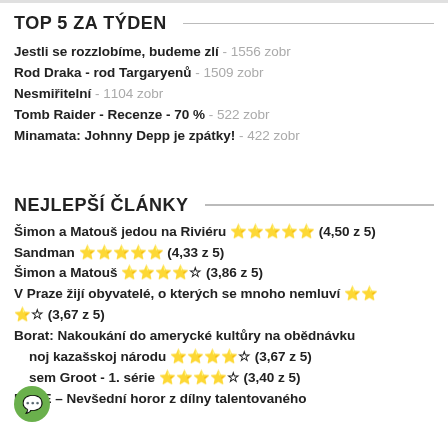TOP 5 ZA TÝDEN
Jestli se rozzlobíme, budeme zlí - 1556 zobr
Rod Draka - rod Targaryenů - 1509 zobr
Nesmiřitelní - 1104 zobr
Tomb Raider - Recenze - 70 % - 522 zobr
Minamata: Johnny Depp je zpátky! - 422 zobr
NEJLEPŠÍ ČLÁNKY
Šimon a Matouš jedou na Riviéru ★★★★★ (4,50 z 5)
Sandman ★★★★★ (4,33 z 5)
Šimon a Matouš ★★★★☆ (3,86 z 5)
V Praze žijí obyvatelé, o kterých se mnoho nemluví ★★★☆ (3,67 z 5)
Borat: Nakoukání do amerycké kultůry na obědnávku noj kazašskoj národu ★★★★☆ (3,67 z 5)
Jsem Groot - 1. série ★★★★☆ (3,40 z 5)
NENE – Nevšední horor z dílny talentovaného